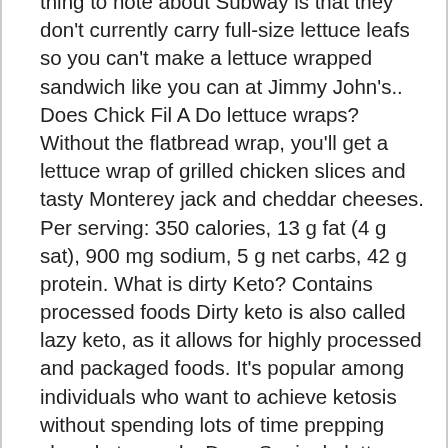thing to note about Subway is that they don't currently carry full-size lettuce leafs so you can't make a lettuce wrapped sandwich like you can at Jimmy John's.. Does Chick Fil A Do lettuce wraps? Without the flatbread wrap, you'll get a lettuce wrap of grilled chicken slices and tasty Monterey jack and cheddar cheeses. Per serving: 350 calories, 13 g fat (4 g sat), 900 mg sodium, 5 g net carbs, 42 g protein. What is dirty Keto? Contains processed foods Dirty keto is also called lazy keto, as it allows for highly processed and packaged foods. It's popular among individuals who want to achieve ketosis without spending lots of time prepping clean keto meals. Does Sonic do lettuce wrapped burgers? The best you can do is top your bunless sandwich or burger with low-carb ingredients, such as more cheese or bacon. Sonic…